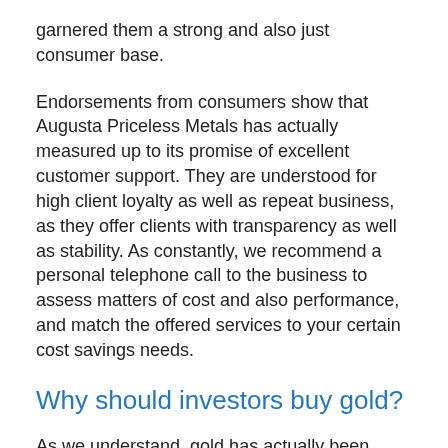garnered them a strong and also just consumer base.
Endorsements from consumers show that Augusta Priceless Metals has actually measured up to its promise of excellent customer support. They are understood for high client loyalty as well as repeat business, as they offer clients with transparency as well as stability. As constantly, we recommend a personal telephone call to the business to assess matters of cost and also performance, and match the offered services to your certain cost savings needs.
Why should investors buy gold?
As we understand, gold has actually been